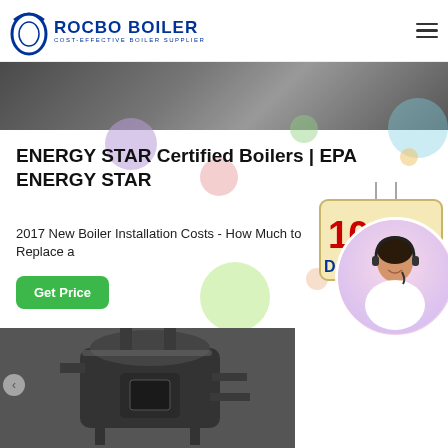ROCBO BOILER — COST-EFFECTIVE BOILER SUPPLIER
[Figure (photo): Top banner photo strip showing boiler/industrial equipment scene]
ENERGY STAR Certified Boilers | EPA ENERGY STAR
2017 New Boiler Installation Costs - How Much to Replace a
[Figure (illustration): 10% DISCOUNT promotional sign hanging graphic with colorful decorative bubbles]
[Figure (illustration): Green Get Price button]
[Figure (photo): Customer service representative in headset, circular portrait photo]
[Figure (photo): Bottom photo of industrial boiler equipment in dark warehouse setting]